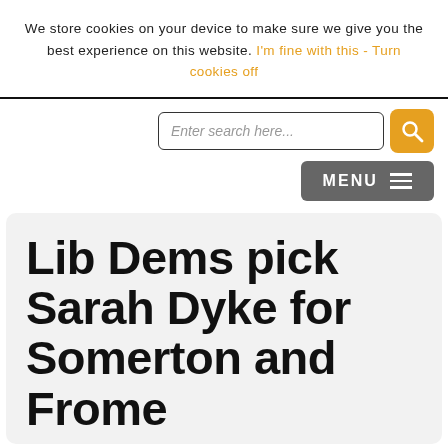We store cookies on your device to make sure we give you the best experience on this website. I'm fine with this - Turn cookies off
[Figure (screenshot): Website header with search input field and orange search button, plus a dark grey MENU button with hamburger icon]
Lib Dems pick Sarah Dyke for Somerton and Frome